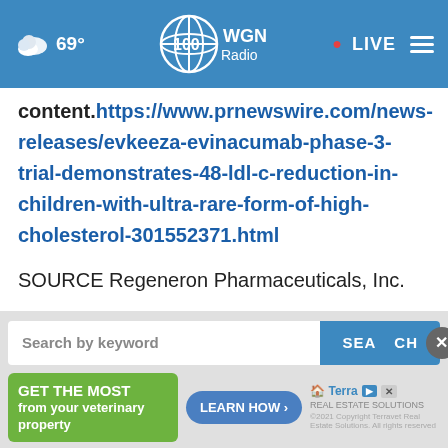69° WGN Radio LIVE
content.https://www.prnewswire.com/news-releases/evkeeza-evinacumab-phase-3-trial-demonstrates-48-ldl-c-reduction-in-children-with-ultra-rare-form-of-high-cholesterol-301552371.html
SOURCE Regeneron Pharmaceuticals, Inc.
[Figure (screenshot): Search bar with 'Search by keyword' placeholder text and a blue SEARCH button, with a close (X) circle button overlay. Below is a green 'GET THE MOST from your veterinary property' ad, a blue 'LEARN HOW >' button, and a TerraX Real Estate Solutions ad.]